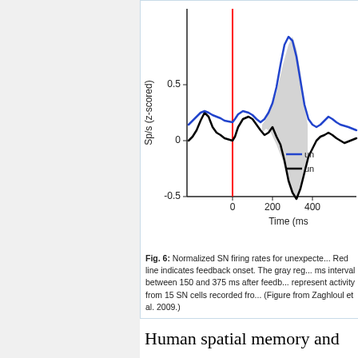[Figure (continuous-plot): Line chart showing normalized SN firing rates (Sp/s z-scored) over time (ms). Y-axis ranges from -0.5 to above 0.5. X-axis shows time from before 0 to beyond 400 ms. A vertical red line marks 0 (feedback onset). Blue line shows one condition, black line shows another. Gray shaded region between curves from ~150 to 375 ms. Partial legend visible showing 'un...' labels for two lines.]
Fig. 6: Normalized SN firing rates for unexpecte... Red line indicates feedback onset. The gray reg... ms interval between 150 and 375 ms after feedb... represent activity from 15 SN cells recorded fro... (Figure from Zaghloul et al. 2009.)
Human spatial memory and